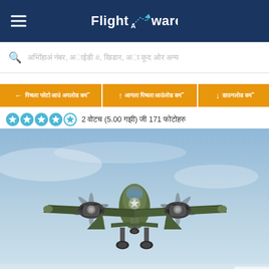FlightAware
ααααααα αααααα, ααα #, αααααααα, αα ααα αα αααααα
← αααααα αααααα ααα αααααα αααα  ↑ αααααα αααααα αααααααα ααα  ↓ αααααααααα ααααα
2 αααααα (5.00 αααα) αα 171 αααααα
[Figure (photo): WWII-era twin-engine bomber aircraft (appearing to be a B-25 Mitchell) in flight with landing gear down, viewed head-on/slightly below, against a light blue/grey sky background.]